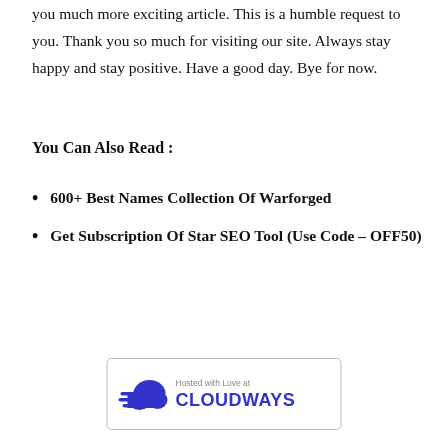you much more exciting article. This is a humble request to you. Thank you so much for visiting our site. Always stay happy and stay positive. Have a good day. Bye for now.
You Can Also Read :
600+ Best Names Collection Of Warforged
Get Subscription Of Star SEO Tool (Use Code – OFF50)
[Figure (logo): Cloudways hosting banner with cloud logo and text 'Hosted with Love at CLOUDWAYS']